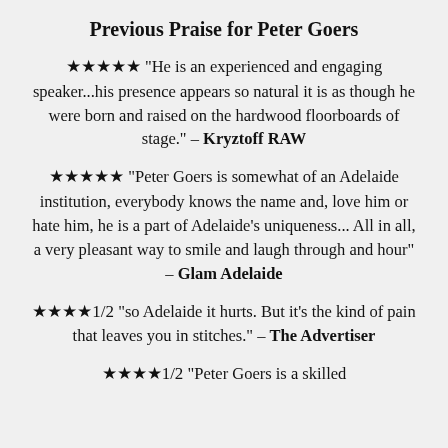Previous Praise for Peter Goers
★★★★★ "He is an experienced and engaging speaker...his presence appears so natural it is as though he were born and raised on the hardwood floorboards of stage." – Kryztoff RAW
★★★★★ "Peter Goers is somewhat of an Adelaide institution, everybody knows the name and, love him or hate him, he is a part of Adelaide's uniqueness... All in all, a very pleasant way to smile and laugh through and hour" – Glam Adelaide
★★★★1/2 "so Adelaide it hurts. But it's the kind of pain that leaves you in stitches." – The Advertiser
★★★★1/2 "Peter Goers is a skilled storyteller with the gift of the…